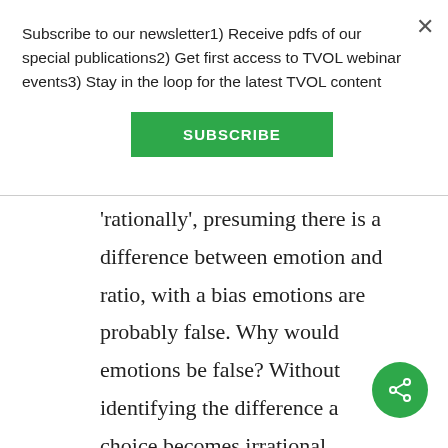Subscribe to our newsletter1) Receive pdfs of our special publications2) Get first access to TVOL webinar events3) Stay in the loop for the latest TVOL content
[Figure (other): Green SUBSCRIBE button]
'rationally', presuming there is a difference between emotion and ratio, with a bias emotions are probably false. Why would emotions be false? Without identifying the difference a choice becomes irrational.
[Figure (other): Green circular share button with share icon]